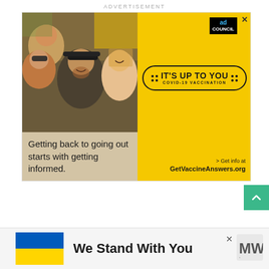ADVERTISEMENT
[Figure (photo): Ad Council COVID-19 vaccination advertisement. Left side shows photo of smiling diverse group of young people at an outdoor event. Text overlay reads: Getting back to going out starts with getting informed. Right yellow side shows a stamp badge reading IT'S UP TO YOU COVID-19 VACCINATION and text: > Get info at GetVaccineAnswers.org]
[Figure (other): Green scroll-to-top button with upward arrow chevron]
[Figure (other): Bottom banner with Ukrainian flag (blue and yellow), text We Stand With You, close X button, and a logo on the right]